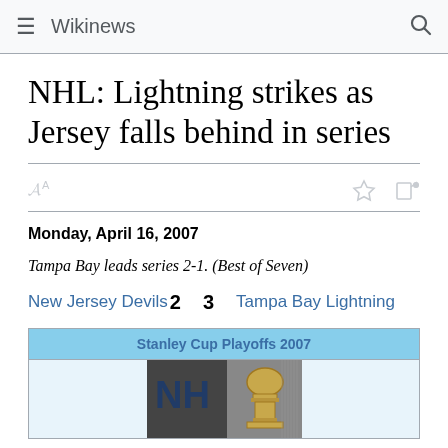Wikinews
NHL: Lightning strikes as Jersey falls behind in series
Monday, April 16, 2007
Tampa Bay leads series 2-1. (Best of Seven)
New Jersey Devils 2   3   Tampa Bay Lightning
| Stanley Cup Playoffs 2007 |
| --- |
| [image of Stanley Cup] |